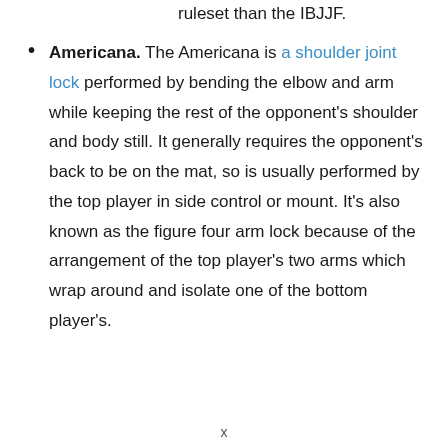ruleset than the IBJJF.
Americana. The Americana is a shoulder joint lock performed by bending the elbow and arm while keeping the rest of the opponent's shoulder and body still. It generally requires the opponent's back to be on the mat, so is usually performed by the top player in side control or mount. It's also known as the figure four arm lock because of the arrangement of the top player's two arms which wrap around and isolate one of the bottom player's.
x